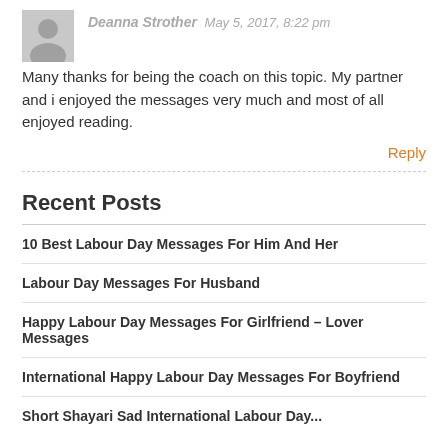Deanna Strother May 5, 2017, 8:22 pm
Many thanks for being the coach on this topic. My partner and i enjoyed the messages very much and most of all enjoyed reading.
Reply
Recent Posts
10 Best Labour Day Messages For Him And Her
Labour Day Messages For Husband
Happy Labour Day Messages For Girlfriend – Lover Messages
International Happy Labour Day Messages For Boyfriend
Short Shayari Sad International Labour Day...